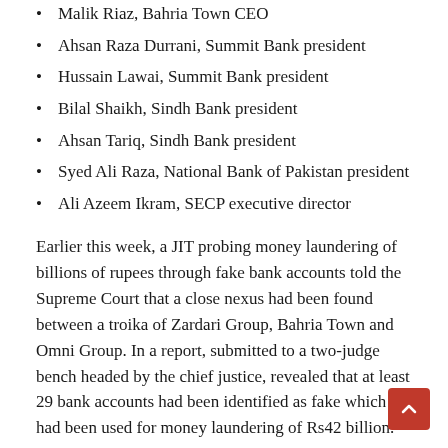Malik Riaz, Bahria Town CEO
Ahsan Raza Durrani, Summit Bank president
Hussain Lawai, Summit Bank president
Bilal Shaikh, Sindh Bank president
Ahsan Tariq, Sindh Bank president
Syed Ali Raza, National Bank of Pakistan president
Ali Azeem Ikram, SECP executive director
Earlier this week, a JIT probing money laundering of billions of rupees through fake bank accounts told the Supreme Court that a close nexus had been found between a troika of Zardari Group, Bahria Town and Omni Group. In a report, submitted to a two-judge bench headed by the chief justice, revealed that at least 29 bank accounts had been identified as fake which had been used for money laundering of Rs42 billion.
The top court had ordered the Zardari Group, Omni Group, Bahria Town, Faryal Talpur and others, including contractors/builders, to